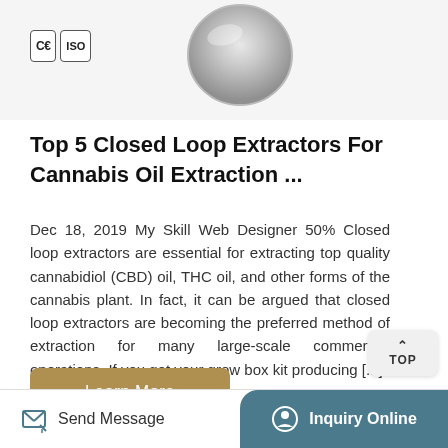[Figure (photo): Partial view of a metallic closed loop extractor component (bowl/lid), silver colored, at top center of page]
[Figure (logo): CE and ISO certification badges/logos in top left corner]
Top 5 Closed Loop Extractors For Cannabis Oil Extraction ...
Dec 18, 2019 My Skill Web Designer 50% Closed loop extractors are essential for extracting top quality cannabidiol (CBD) oil, THC oil, and other forms of the cannabis plant. In fact, it can be argued that closed loop extractors are becoming the preferred method of extraction for many large-scale commercial operations. If you got your grow box kit producing [...]
[Figure (other): TOP navigation button with upward arrow]
[Figure (other): Learn More button in gold/tan color]
Send Message  |  Inquiry Online